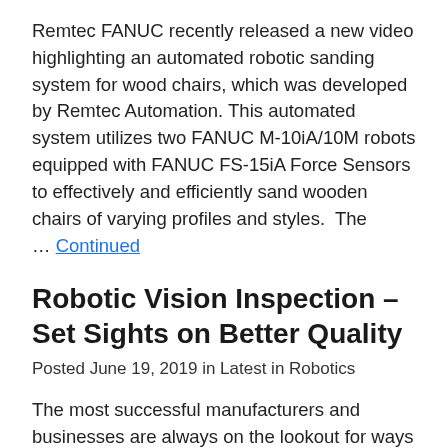Remtec FANUC recently released a new video highlighting an automated robotic sanding system for wood chairs, which was developed by Remtec Automation. This automated system utilizes two FANUC M-10iA/10M robots equipped with FANUC FS-15iA Force Sensors to effectively and efficiently sand wooden chairs of varying profiles and styles.  The … Continued
Robotic Vision Inspection – Set Sights on Better Quality
Posted June 19, 2019 in Latest in Robotics
The most successful manufacturers and businesses are always on the lookout for ways to improve quality. Problems with quality can be costly in terms of missed deadlines, incorrect orders, and defective product